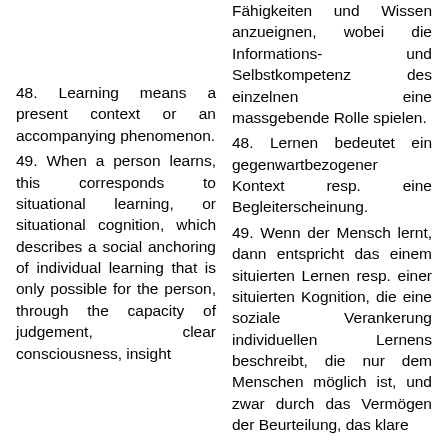Fähigkeiten und Wissen anzueignen, wobei die Informations- und Selbstkompetenz des einzelnen eine massgebende Rolle spielen.
48. Learning means a present context or an accompanying phenomenon.
48. Lernen bedeutet ein gegenwartbezogener Kontext resp. eine Begleiterscheinung.
49. When a person learns, this corresponds to situational learning, or situational cognition, which describes a social anchoring of individual learning that is only possible for the person, through the capacity of judgement, clear consciousness, insight
49. Wenn der Mensch lernt, dann entspricht das einem situierten Lernen resp. einer situierten Kognition, die eine soziale Verankerung individuellen Lernens beschreibt, die nur dem Menschen möglich ist, und zwar durch das Vermögen der Beurteilung, das klare